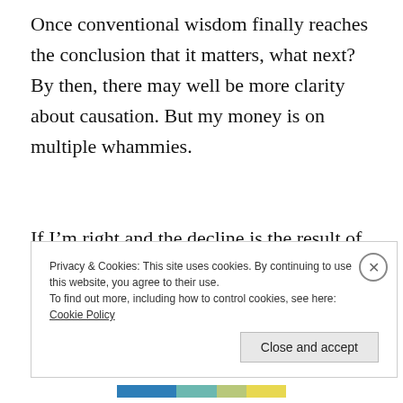Once conventional wisdom finally reaches the conclusion that it matters, what next?  By then, there may well be more clarity about causation. But my money is on multiple whammies.
If I'm right and the decline is the result of climate change, widespread insecticide use, a multi-pollutant
Privacy & Cookies: This site uses cookies. By continuing to use this website, you agree to their use.
To find out more, including how to control cookies, see here: Cookie Policy
[Close and accept]